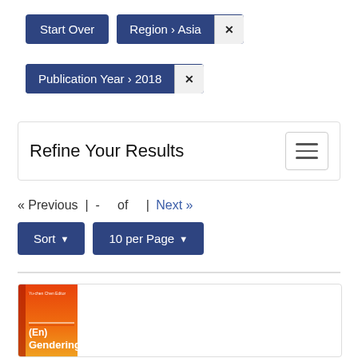Start Over
Region › Asia ✕
Publication Year › 2018 ✕
Refine Your Results
« Previous | - of | Next »
Sort ▼  10 per Page ▼
[Figure (illustration): Book cover for (En)Gendering - orange/red gradient cover with white text, editor Yu-chen Chen]